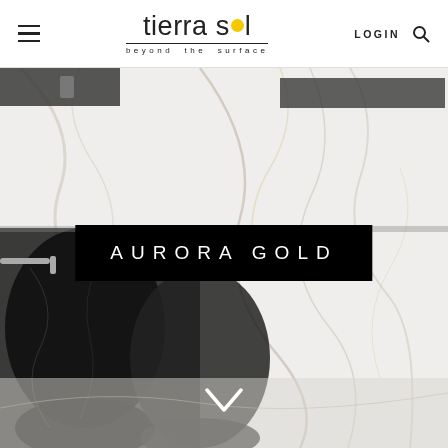tierra sol — beyond the surface | LOGIN
[Figure (photo): Luxury marble bathroom with white marble wall tiles featuring gold veining, black marble pedestal sinks, chrome wall-mounted faucets, dark shelves, and marble floor tiles. Text overlay reads AURORA GOLD on a black rectangle. A white chevron/down-arrow is centered at the bottom of the image.]
AURORA GOLD